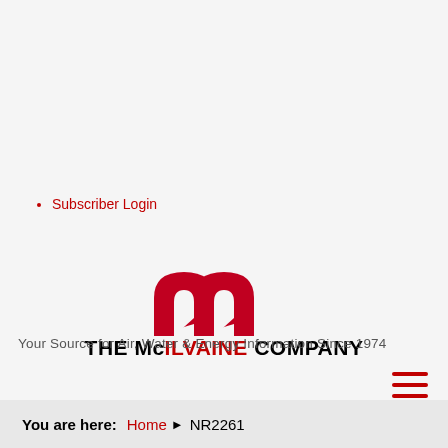Subscriber Login
[Figure (logo): The McIlvaine Company logo with red stylized M arch and bold company name text]
Your Source for Air, Water & Energy Information Since 1974
You are here: Home ▶ NR2261